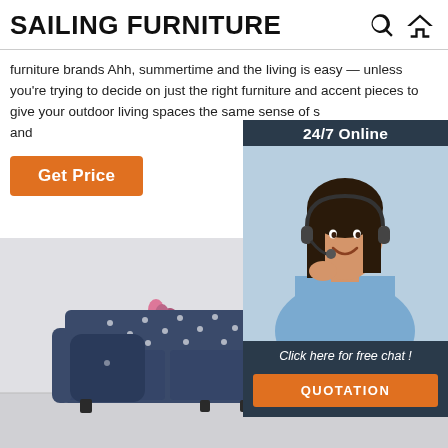SAILING FURNITURE
furniture brands Ahh, summertime and the living is easy — unless you're trying to decide on just the right furniture and accent pieces to give your outdoor living spaces the same sense of s and
Get Price
[Figure (infographic): 24/7 Online customer service widget showing a smiling woman with headset, with 'Click here for free chat!' text and QUOTATION button]
[Figure (photo): Photo of a navy blue tufted sofa with cushions, with a flower plant on the left, set against a light grey background]